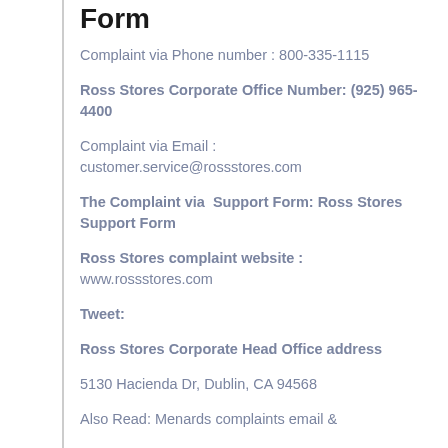Form
Complaint via Phone number : 800-335-1115
Ross Stores Corporate Office Number: (925) 965-4400
Complaint via Email : customer.service@rossstores.com
The Complaint via  Support Form: Ross Stores Support Form
Ross Stores complaint website : www.rossstores.com
Tweet:
Ross Stores Corporate Head Office address
5130 Hacienda Dr, Dublin, CA 94568
Also Read: Menards complaints email &